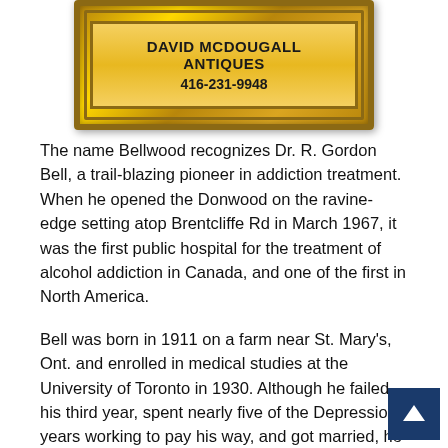[Figure (logo): Ornate gold picture frame containing advertisement for David McDougall Antiques with phone number 416-231-9948]
The name Bellwood recognizes Dr. R. Gordon Bell, a trailblazing pioneer in addiction treatment. When he opened the Donwood on the ravine-edge setting atop Brentcliffe Rd in March 1967, it was the first public hospital for the treatment of alcohol addiction in Canada, and one of the first in North America.
Bell was born in 1911 on a farm near St. Mary's, Ont. and enrolled in medical studies at the University of Toronto in 1930. Although he failed his third year, spent nearly five of the Depression years working to pay his way, and got married, he eventually returned to his studies in 1939. Canadian military urgently needed more doctors during the